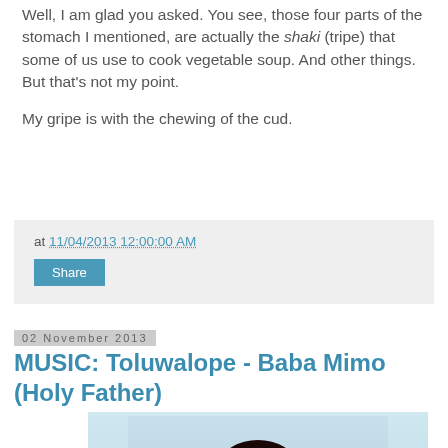Well, I am glad you asked. You see, those four parts of the stomach I mentioned, are actually the shaki (tripe) that some of us use to cook vegetable soup. And other things. But that's not my point.

My gripe is with the chewing of the cud.
at 11/04/2013 12:00:00 AM
Share
02 November 2013
MUSIC: Toluwalope - Baba Mimo (Holy Father)
[Figure (photo): Photo of Toluwalope, a woman with braided hair, with a 'TOLUWALOPE' label bar at the bottom]